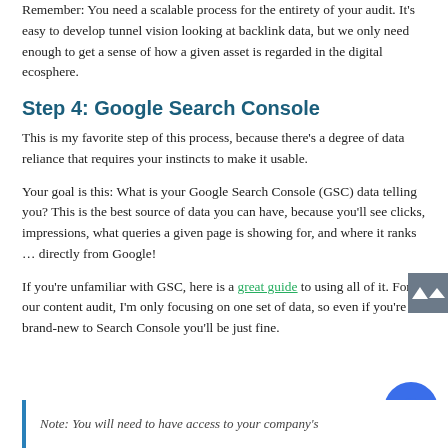Remember: You need a scalable process for the entirety of your audit. It's easy to develop tunnel vision looking at backlink data, but we only need enough to get a sense of how a given asset is regarded in the digital ecosphere.
Step 4: Google Search Console
This is my favorite step of this process, because there's a degree of data reliance that requires your instincts to make it usable.
Your goal is this: What is your Google Search Console (GSC) data telling you? This is the best source of data you can have, because you'll see clicks, impressions, what queries a given page is showing for, and where it ranks … directly from Google!
If you're unfamiliar with GSC, here is a great guide to using all of it. For our content audit, I'm only focusing on one set of data, so even if you're brand-new to Search Console you'll be just fine.
Note: You will need to have access to your company's